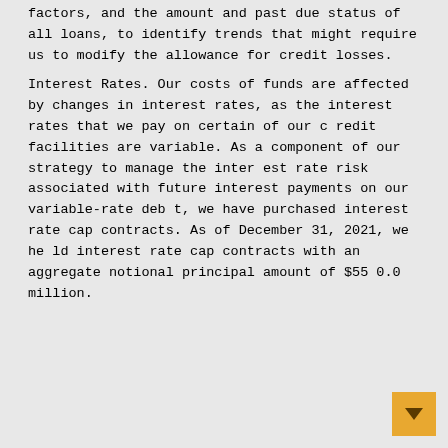factors, and the amount and past due status of all loans, to identify trends that might require us to modify the allowance for credit losses.

Interest Rates. Our costs of funds are affected by changes in interest rates, as the interest rates that we pay on certain of our credit facilities are variable. As a component of our strategy to manage the interest rate risk associated with future interest payments on our variable-rate debt, we have purchased interest rate cap contracts. As of December 31, 2021, we held interest rate cap contracts with an aggregate notional principal amount of $550.0 million.